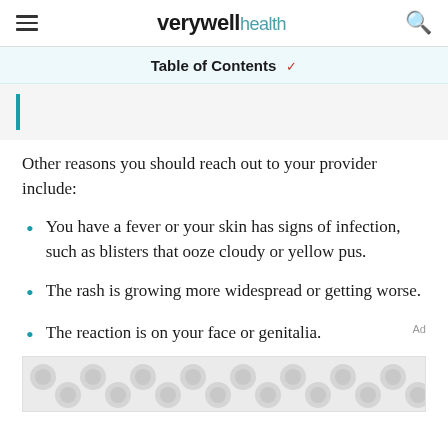verywell health
Table of Contents
Other reasons you should reach out to your provider include:
You have a fever or your skin has signs of infection, such as blisters that ooze cloudy or yellow pus.
The rash is growing more widespread or getting worse.
The reaction is on your face or genitalia.
[Figure (other): Advertisement placeholder with grey circular/blob pattern]